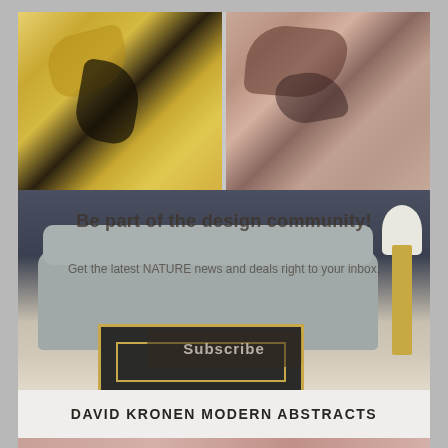[Figure (photo): Two abstract paintings side by side at top: left painting has warm yellow/gold and dark gestural brushstrokes; right painting has muted rose/brown tones with abstract organic shapes]
[Figure (photo): Modern living room interior with grey sectional sofa with decorative pillows, gold and black coffee table/trunk, floor lamp, and dark accent wall with plant]
Be part of the design community!
Get the latest NATURE news and deals right to your inbox.
Subscribe
DAVID KRONEN MODERN ABSTRACTS